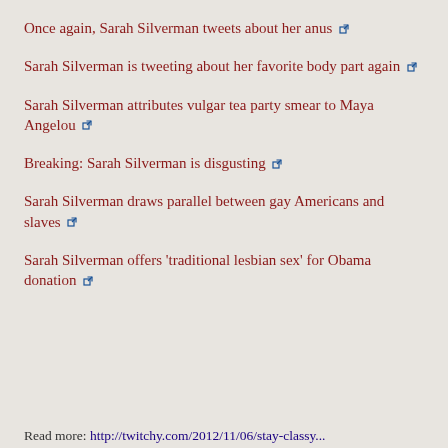Once again, Sarah Silverman tweets about her anus 🔗
Sarah Silverman is tweeting about her favorite body part again 🔗
Sarah Silverman attributes vulgar tea party smear to Maya Angelou 🔗
Breaking: Sarah Silverman is disgusting 🔗
Sarah Silverman draws parallel between gay Americans and slaves 🔗
Sarah Silverman offers 'traditional lesbian sex' for Obama donation 🔗
Read more: http://twitchy.com/2012/11/06/stay-classy...